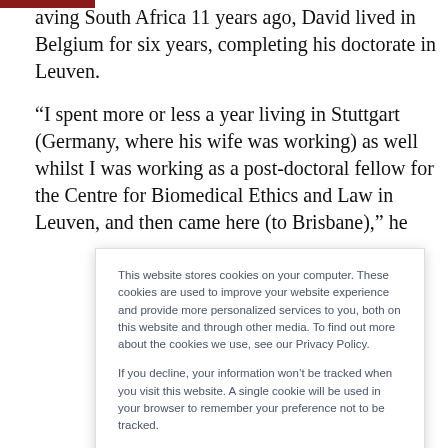…aving South Africa 11 years ago, David lived in Belgium for six years, completing his doctorate in Leuven.
“I spent more or less a year living in Stuttgart (Germany, where his wife was working) as well whilst I was working as a post-doctoral fellow for the Centre for Biomedical Ethics and Law in Leuven, and then came here (to Brisbane),” he
This website stores cookies on your computer. These cookies are used to improve your website experience and provide more personalized services to you, both on this website and through other media. To find out more about the cookies we use, see our Privacy Policy.

If you decline, your information won’t be tracked when you visit this website. A single cookie will be used in your browser to remember your preference not to be tracked.